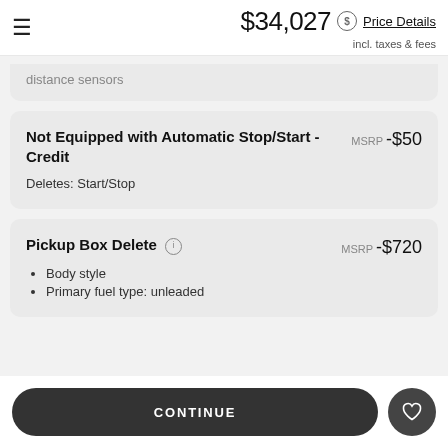$34,027 incl. taxes & fees — Price Details
distance sensors
Not Equipped with Automatic Stop/Start - Credit  MSRP -$50
Deletes: Start/Stop
Pickup Box Delete  MSRP -$720
• Body style
• Primary fuel type: unleaded
CONTINUE